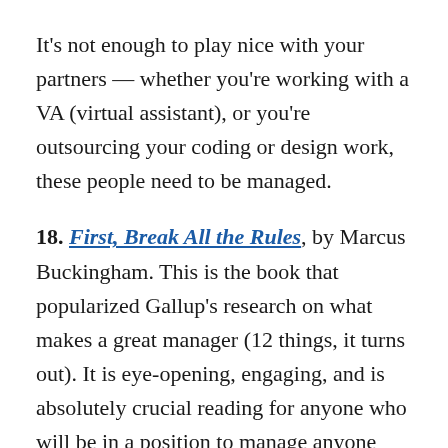It's not enough to play nice with your partners — whether you're working with a VA (virtual assistant), or you're outsourcing your coding or design work, these people need to be managed.
18. First, Break All the Rules, by Marcus Buckingham. This is the book that popularized Gallup's research on what makes a great manager (12 things, it turns out). It is eye-opening, engaging, and is absolutely crucial reading for anyone who will be in a position to manage anyone else.